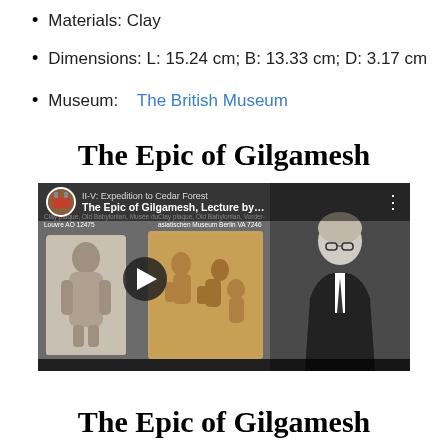Materials:  Clay
Dimensions: L: 15.24 cm; B: 13.33 cm; D: 3.17 cm
Museum:    The British Museum
The Epic of Gilgamesh
[Figure (screenshot): YouTube video thumbnail showing 'The Epic of Gilgamesh, Lecture by...' with clay plaques and a professor lecturing]
The Epic of Gilgamesh